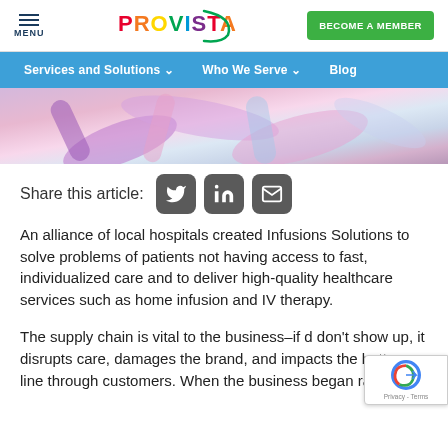MENU | PROVISTA | BECOME A MEMBER
Services and Solutions  Who We Serve  Blog
[Figure (photo): Close-up photo of colorful medical infusion tubing in purple, pink, and blue tones.]
Share this article:
An alliance of local hospitals created Infusions Solutions to solve problems of patients not having access to fast, individualized care and to deliver high-quality healthcare services such as home infusion and IV therapy.
The supply chain is vital to the business–if d don't show up, it disrupts care, damages the brand, and impacts the bottom line through customers. When the business began rapidly